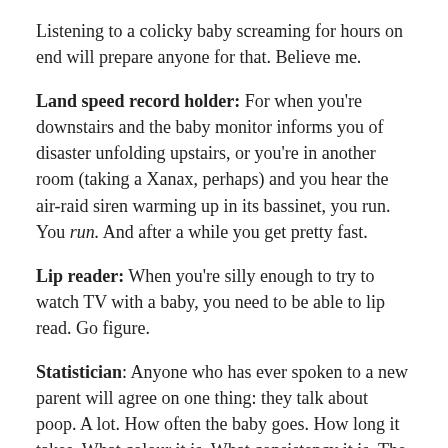Listening to a colicky baby screaming for hours on end will prepare anyone for that. Believe me.
Land speed record holder: For when you're downstairs and the baby monitor informs you of disaster unfolding upstairs, or you're in another room (taking a Xanax, perhaps) and you hear the air-raid siren warming up in its bassinet, you run. You run. And after a while you get pretty fast.
Lip reader: When you're silly enough to try to watch TV with a baby, you need to be able to lip read. Go figure.
Statistician: Anyone who has ever spoken to a new parent will agree on one thing: they talk about poop. A lot. How often the baby goes. How long it takes. What colour it is. What consistency it is. The sheer power of its aroma, based on how similar it smells to the Bog of Eternal Stench. And so on. We've taken to keeping a poop log (no sniggering down the back) where we record times of poops and what sort